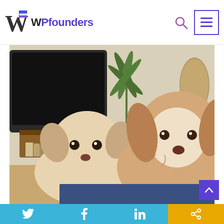[Figure (logo): WPfounders logo with W letter, flag icon, and purple text 'WPfounders']
[Figure (photo): Two dogs sitting in a living room: a small white/tan Chihuahua on the left and a larger white/golden Cocker Spaniel on the right. Background shows a TV on a wooden stand, a potted plant, and a mannequin torso.]
[Figure (infographic): Social media sharing bar at bottom with Twitter, Facebook, LinkedIn icons (blue) and a share/link icon (yellow/gold)]